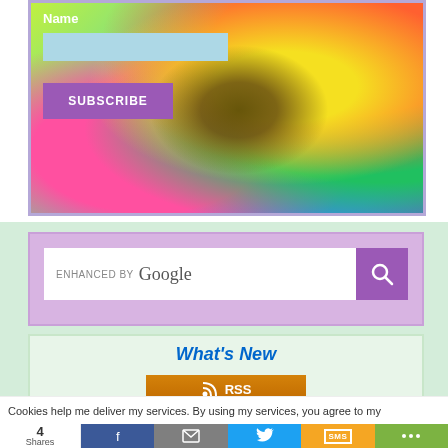[Figure (screenshot): Subscribe widget with colorful flower/sunflower background, Name label, light blue text input field, and purple SUBSCRIBE button]
[Figure (screenshot): Enhanced by Google search bar with purple search button and magnifying glass icon, inside a purple-bordered box on a green background]
[Figure (screenshot): What's New section with blue italic title, orange RSS button with icon, and green Follow button]
Cookies help me deliver my services. By using my services, you agree to my
4 Shares